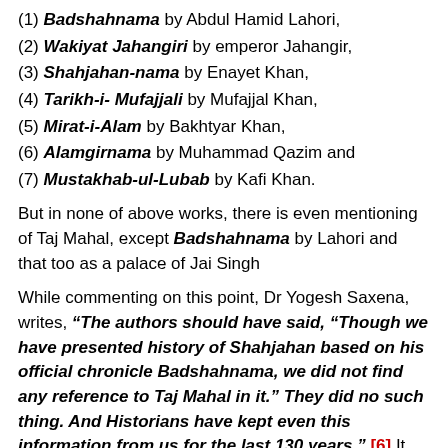(1) Badshahnama by Abdul Hamid Lahori,
(2) Wakiyat Jahangiri by emperor Jahangir,
(3) Shahjahan-nama by Enayet Khan,
(4) Tarikh-i- Mufajjali by Mufajjal Khan,
(5) Mirat-i-Alam by Bakhtyar Khan,
(6) Alamgirnama by Muhammad Qazim and
(7) Mustakhab-ul-Lubab by Kafi Khan.
But in none of above works, there is even mentioning of Taj Mahal, except Badshahnama by Lahori and that too as a palace of Jai Singh
While commenting on this point, Dr Yogesh Saxena, writes, “The authors should have said, “Though we have presented history of Shahjahan based on his official chronicle Badshahnama, we did not find any reference to Taj Mahal in it.” They did no such thing. And Historians have kept even this information from us for the last 130 years.” [6] It was Professor P N Oak, who, for the first time, made the startling discovery that there is